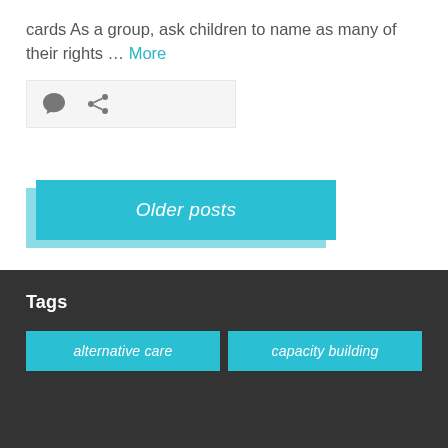cards As a group, ask children to name as many of their rights … More
[Figure (other): Icon bar with comment bubble icon and share/link icon on light grey background]
Older posts
Tags
alternative care
capacity building